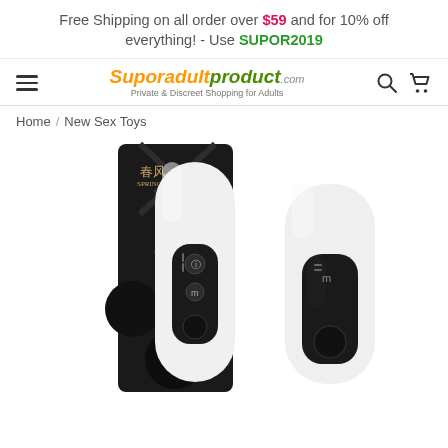Free Shipping on all order over $59 and for 10% off everything! - Use SUPOR2019
[Figure (logo): Suporadultproduct.com logo with tagline 'Private & Discreet Shopping for Adults']
Home / New Sex Toys
[Figure (photo): Product photo showing two white adult toy devices with black control panels, one shown with black box packaging]